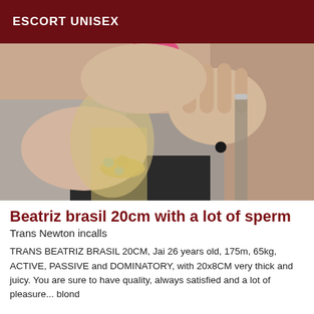ESCORT UNISEX
[Figure (photo): Close-up photo of a person wearing a grey top and gold bracelet, partially covering their face with one hand, with blonde hair visible.]
Beatriz brasil 20cm with a lot of sperm
Trans Newton incalls
TRANS BEATRIZ BRASIL 20CM, Jai 26 years old, 175m, 65kg, ACTIVE, PASSIVE and DOMINATORY, with 20x8CM very thick and juicy. You are sure to have quality, always satisfied and a lot of pleasure... blond